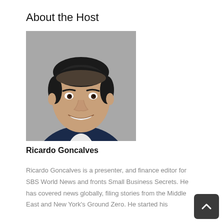About the Host
[Figure (photo): Professional headshot of Ricardo Goncalves, a man in a dark suit with dark hair, smiling, against a grey background.]
Ricardo Goncalves
Ricardo Goncalves is a presenter, and finance editor for SBS World News and fronts Small Business Secrets. He has covered news globally, filing stories from the Middle East and New York's Ground Zero. He started his